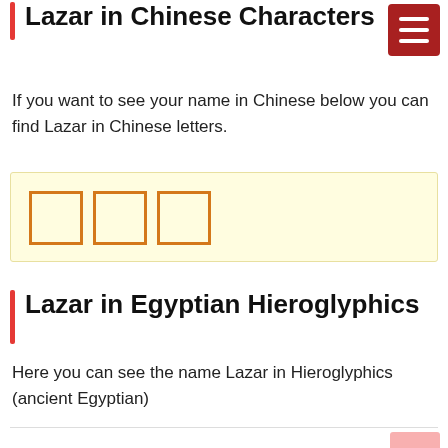Lazar in Chinese Characters
If you want to see your name in Chinese below you can find Lazar in Chinese letters.
[Figure (other): Three empty orange-bordered square boxes representing Chinese character placeholders for the name Lazar]
Lazar in Egyptian Hieroglyphics
Here you can see the name Lazar in Hieroglyphics (ancient Egyptian)
How To Say Lazar in American Sign Language